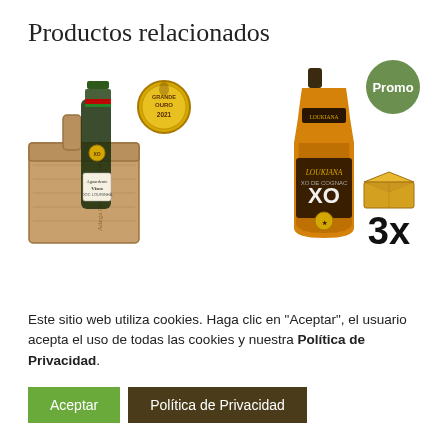Productos relacionados
[Figure (photo): Left product: a dark bottle of wine/brandy labeled 'Aguardiente Vísca DOC Lourinhã' in a wooden gift box, with a 'Grande Ouro 2021' award medal nearby. Right product: a bottle of 'LOUKIANA XO' amber brandy/cognac with a Promo badge and a 3x box quantity indicator.]
Este sitio web utiliza cookies. Haga clic en "Aceptar", el usuario acepta el uso de todas las cookies y nuestra Política de Privacidad.
Aceptar
Política de Privacidad